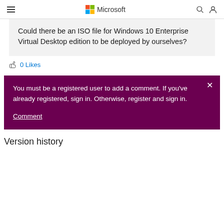Microsoft
Could there be an ISO file for Windows 10 Enterprise Virtual Desktop edition to be deployed by ourselves?
0 Likes
You must be a registered user to add a comment. If you've already registered, sign in. Otherwise, register and sign in.
Comment
Version history